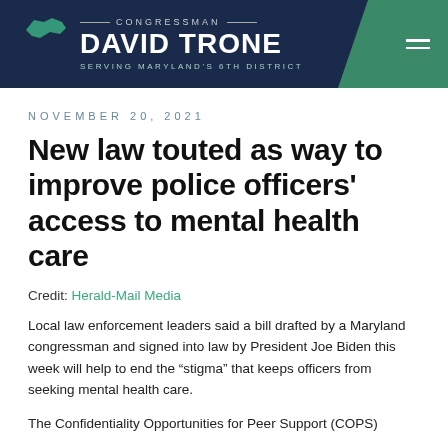Congressman David Trone — Serving Maryland's 6th District
NOVEMBER 20, 2021
New law touted as way to improve police officers' access to mental health care
Credit: Herald-Mail Media
Local law enforcement leaders said a bill drafted by a Maryland congressman and signed into law by President Joe Biden this week will help to end the "stigma" that keeps officers from seeking mental health care.
The Confidentiality Opportunities for Peer Support (COPS)